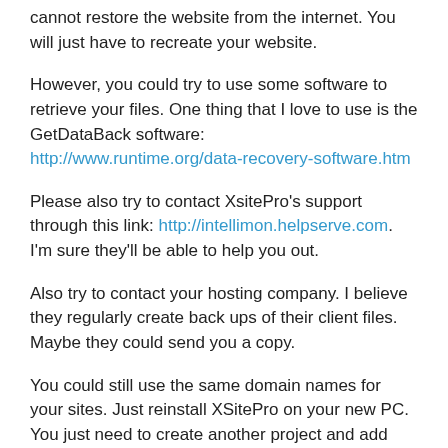cannot restore the website from the internet. You will just have to recreate your website.
However, you could try to use some software to retrieve your files. One thing that I love to use is the GetDataBack software: http://www.runtime.org/data-recovery-software.htm
Please also try to contact XsitePro's support through this link: http://intellimon.helpserve.com. I'm sure they'll be able to help you out.
Also try to contact your hosting company. I believe they regularly create back ups of their client files. Maybe they could send you a copy.
You could still use the same domain names for your sites. Just reinstall XSitePro on your new PC. You just need to create another project and add your